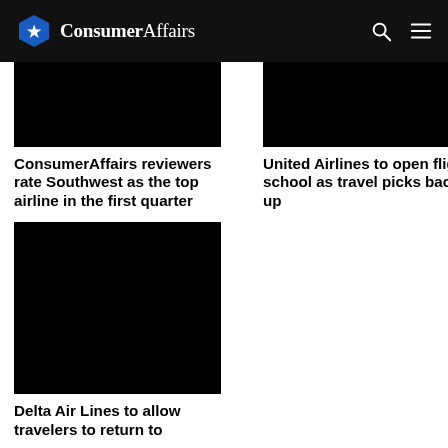ConsumerAffairs
[Figure (photo): Black image placeholder for article thumbnail (ConsumerAffairs reviewers rate Southwest)]
ConsumerAffairs reviewers rate Southwest as the top airline in the first quarter
[Figure (photo): Black image placeholder for article thumbnail (United Airlines to open flight school)]
United Airlines to open flight school as travel picks back up
[Figure (photo): Black image placeholder for article thumbnail (Delta Air Lines)]
Delta Air Lines to allow travelers to return to